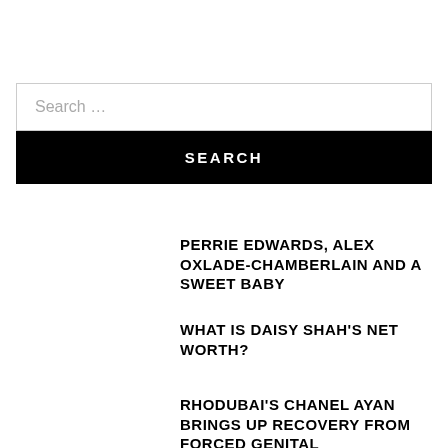Search …
SEARCH
PERRIE EDWARDS, ALEX OXLADE-CHAMBERLAIN AND A SWEET BABY
WHAT IS DAISY SHAH'S NET WORTH?
RHODUBAI'S CHANEL AYAN BRINGS UP RECOVERY FROM FORCED GENITAL